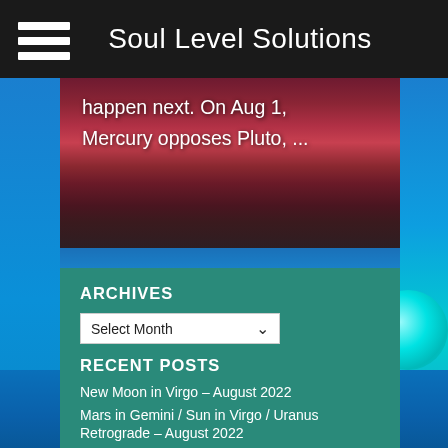Soul Level Solutions
[Figure (photo): Reddish sky over a dark landscape with blue ocean/water in background]
happen next. On Aug 1, Mercury opposes Pluto, ...
ARCHIVES
Select Month
RECENT POSTS
New Moon in Virgo – August 2022
Mars in Gemini / Sun in Virgo / Uranus Retrograde – August 2022
Current Astro Events – Aug 10, 2022